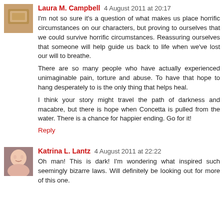Laura M. Campbell  4 August 2011 at 20:17
I'm not so sure it's a question of what makes us place horrific circumstances on our characters, but proving to ourselves that we could survive horrific circumstances. Reassuring ourselves that someone will help guide us back to life when we've lost our will to breathe.
There are so many people who have actually experienced unimaginable pain, torture and abuse. To have that hope to hang desperately to is the only thing that helps heal.
I think your story might travel the path of darkness and macabre, but there is hope when Concetta is pulled from the water. There is a chance for happier ending. Go for it!
Reply
Katrina L. Lantz  4 August 2011 at 22:22
Oh man! This is dark! I'm wondering what inspired such seemingly bizarre laws. Will definitely be looking out for more of this one.